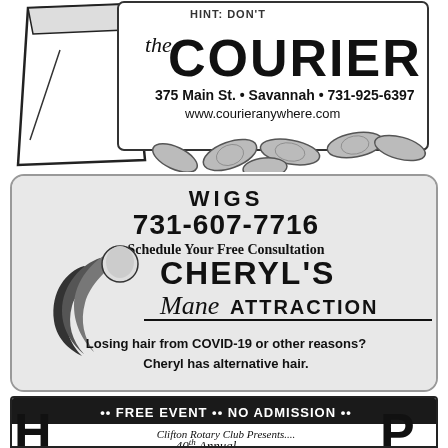[Figure (illustration): The Courier newspaper bag with peanuts scattered around it. Text on bag: 'the COURIER, 375 Main St. • Savannah • 731-925-6397, www.courieranywhere.com']
[Figure (illustration): Cheryl's Mane Attraction advertisement with wigs service. Shows logo with hair silhouette, text: WIGS, 731-607-7716, Schedule Your Free Consultation, CHERYL'S Mane ATTRACTION, Losing hair from COVID-19 or other reasons? Cheryl has alternative hair.]
[Figure (illustration): Free Event / No Admission banner for Clifton Rotary Club Presents.... 40th Annual event, with large partial letters H and P visible at bottom.]